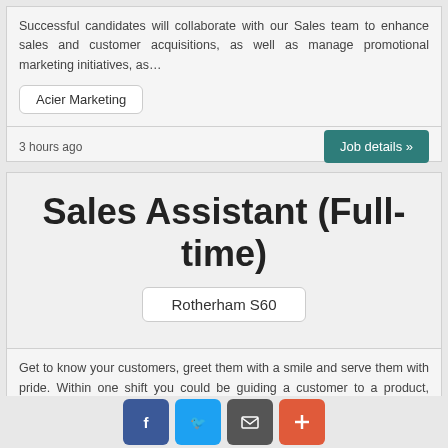Successful candidates will collaborate with our Sales team to enhance sales and customer acquisitions, as well as manage promotional marketing initiatives, as…
Acier Marketing
3 hours ago
Job details »
Sales Assistant (Full-time)
Rotherham S60
Get to know your customers, greet them with a smile and serve them with pride. Within one shift you could be guiding a customer to a product, offering your…